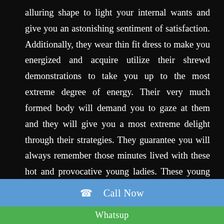alluring shape to light your internal wants and give you an astonishing sentiment of satisfaction. Additionally, they wear thin fit dress to make you energized and acquire utilize their shrewd demonstrations to take you up to the most extreme degree of energy. Their very much formed body will demand you to gaze at them and they will give you a most extreme delight through their strategies. They guarantee you will always remember those minutes lived with these hot and provocative young ladies. These young ladies are extremely expert and accomplished so customers
☎  Call Now
Whatsup